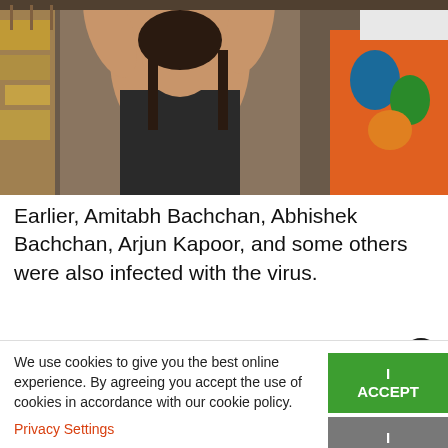[Figure (photo): Photo of a woman in a black sleeveless top with arms raised, in front of colorful clothing racks, with another person in a colorful top visible on the right side.]
Earlier, Amitabh Bachchan, Abhishek Bachchan, Arjun Kapoor, and some others were also infected with the virus.
Malaika, who took COVID vaccination on April 2, is
We use cookies to give you the best online experience. By agreeing you accept the use of cookies in accordance with our cookie policy.
Privacy Settings